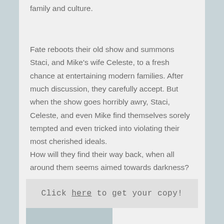family and culture.
Fate reboots their old show and summons Staci, and Mike's wife Celeste, to a fresh chance at entertaining modern families. After much discussion, they carefully accept. But when the show goes horribly awry, Staci, Celeste, and even Mike find themselves sorely tempted and even tricked into violating their most cherished ideals.
How will they find their way back, when all around them seems aimed towards darkness?
Click here to get your copy!
[Figure (photo): Partial view of an image at the bottom of the page, appears to be a light blue/grey toned photograph]